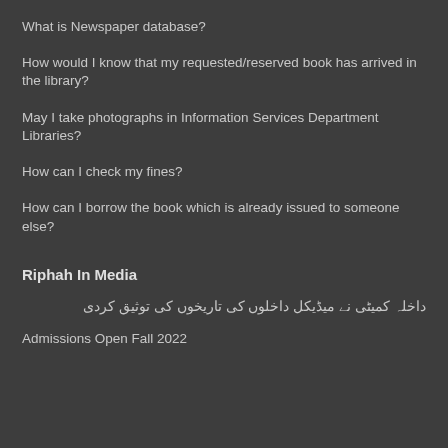What is Newspaper database?
How would I know that my requested/reserved book has arrived in the library?
May I take photographs in Information Services Department Libraries?
How can I check my fines?
How can I borrow the book which is already issued to someone else?
Riphah In Media
داخلہ کمیٹی نے میڈیکل داخلوں کی تاریخوں کی توثیق کردی
Admissions Open Fall 2022